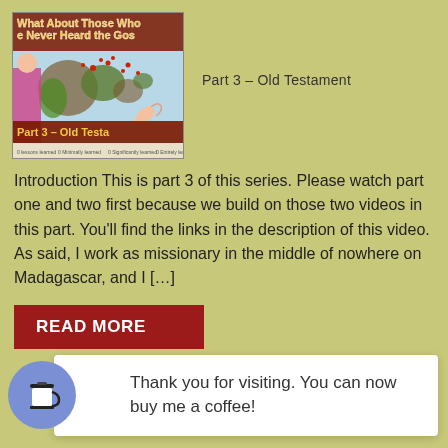[Figure (illustration): Thumbnail image showing a world map with the title 'What About Those Who Have Never Heard the Gospel' and subtitle 'Part 3 - Old Testament']
Part 3 – Old Testament
Introduction This is part 3 of this series. Please watch part one and two first because we build on those two videos in this part. You'll find the links in the description of this video. As said, I work as missionary in the middle of nowhere on Madagascar, and I […]
READ MORE
Thank you for visiting. You can now buy me a coffee!